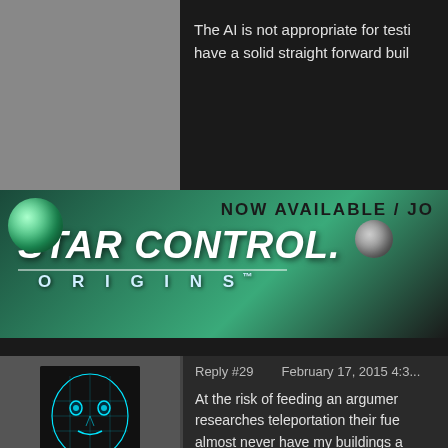The AI is not appropriate for testi... have a solid straight forward buil...
[Figure (screenshot): Star Control Origins banner advertisement - NOW AVAILABLE / JO... with green space background, planet, and Star Control Origins logo]
Reply #29    February 17, 2015 4:3...
[Figure (photo): User avatar showing a cyan digital face/mask on dark background]
sresk2
Join Date 07/2010
+2
At the risk of feeding an argumen... researches teleportation their fue... almost never have my buildings a... instead of glass, depending of co...
really where science snowballs is...